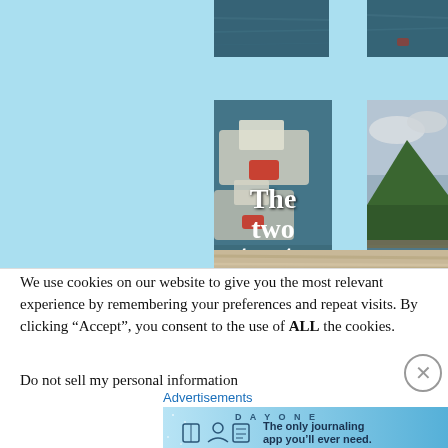[Figure (photo): Partial view of water/sea at top, two cropped photos showing ocean/sea surface, dark blue-grey tones]
[Figure (photo): Photo of boats docked on water, viewed from above. Text overlay reads 'The two trusty']
[Figure (photo): Photo of a green mountain/hill with cloudy sky and water/harbour in foreground]
[Figure (photo): Partial bottom strip showing ropes or sandy/rope texture]
We use cookies on our website to give you the most relevant experience by remembering your preferences and repeat visits. By clicking “Accept”, you consent to the use of ALL the cookies.
Do not sell my personal information
Advertisements
[Figure (screenshot): Advertisement banner for DAY ONE journaling app. Shows 'DAY ONE' text, three icons (book, person, notepad), and tagline 'The only journaling app you’ll ever need.']